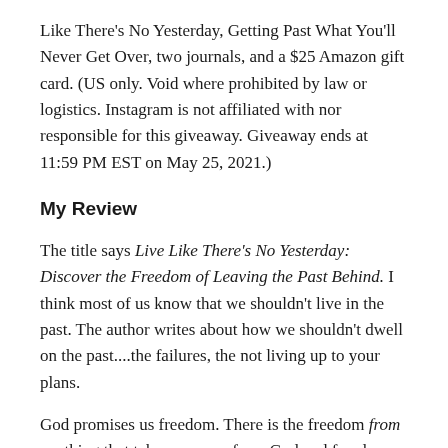Like There's No Yesterday, Getting Past What You'll Never Get Over, two journals, and a $25 Amazon gift card. (US only. Void where prohibited by law or logistics. Instagram is not affiliated with nor responsible for this giveaway. Giveaway ends at 11:59 PM EST on May 25, 2021.)
My Review
The title says Live Like There's No Yesterday: Discover the Freedom of Leaving the Past Behind. I think most of us know that we shouldn't live in the past. The author writes about how we shouldn't dwell on the past....the failures, the not living up to your plans.
God promises us freedom. There is the freedom from anything that takes us away from God and freedom for living an abundant life (that the Bible talks about). This